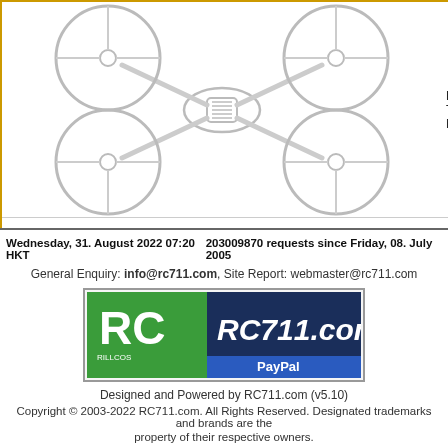[Figure (illustration): Top-view schematic illustration of a quadcopter drone frame with circular propeller guards — KingKong Tiny6 MainFrame]
KingKong Tiny6-MainFrame
[Figure (illustration): Perspective-view schematic illustration of a quadcopter drone frame with circular propeller guards — KingKong Tiny7 FRAMEK, with navigation dots below]
KingKong Tiny7-FRAMEK
Displaying 1 to 30 (of 38 products)
Wednesday, 31. August 2022 07:20 HKT    203009870 requests since Friday, 08. July 2005
General Enquiry: info@rc711.com, Site Report: webmaster@rc711.com
[Figure (logo): RC711.com logo with PayPal button]
Designed and Powered by RC711.com (v5.10)
Copyright © 2003-2022 RC711.com. All Rights Reserved. Designated trademarks and brands are the property of their respective owners.